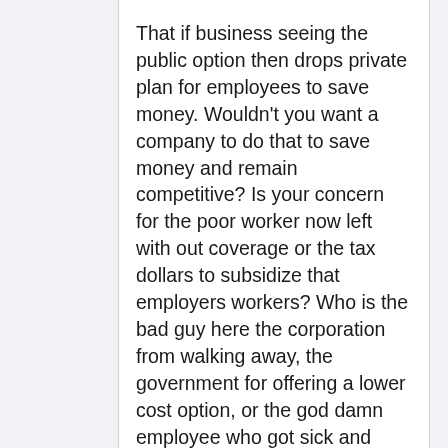That if business seeing the public option then drops private plan for employees to save money. Wouldn't you want a company to do that to save money and remain competitive? Is your concern for the poor worker now left with out coverage or the tax dollars to subsidize that employers workers? Who is the bad guy here the corporation from walking away, the government for offering a lower cost option, or the god damn employee who got sick and drove up the plan cost so we had to drop it? I am not sure what your point is bostonshepherd.